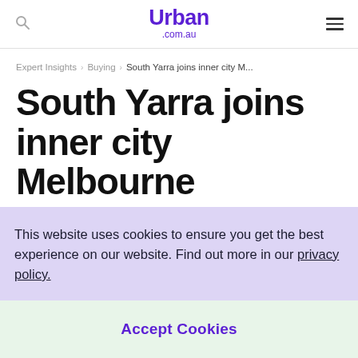Urban .com.au
Expert Insights > Buying > South Yarra joins inner city M...
South Yarra joins inner city Melbourne
This website uses cookies to ensure you get the best experience on our website. Find out more in our privacy policy.
Accept Cookies